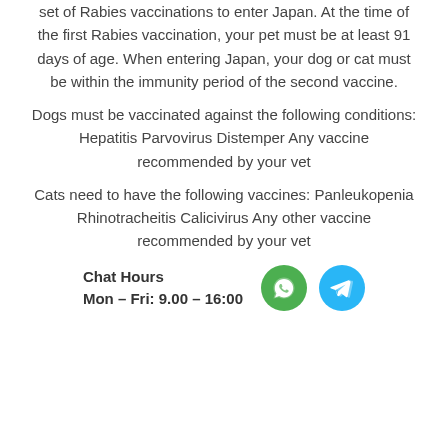set of Rabies vaccinations to enter Japan. At the time of the first Rabies vaccination, your pet must be at least 91 days of age. When entering Japan, your dog or cat must be within the immunity period of the second vaccine.
Dogs must be vaccinated against the following conditions: Hepatitis Parvovirus Distemper Any vaccine recommended by your vet
Cats need to have the following vaccines: Panleukopenia Rhinotracheitis Calicivirus Any other vaccine recommended by your vet
Chat Hours
Mon – Fri: 9.00 – 16:00